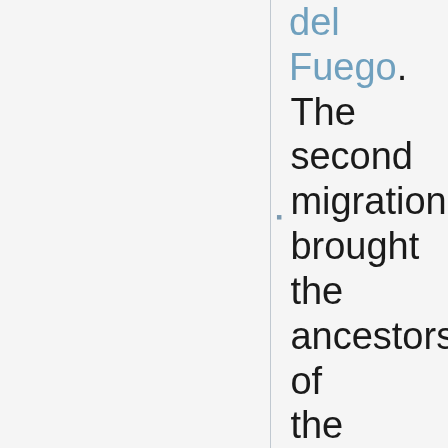del Fuego. The second migration brought the ancestors of the Na-Dene peoples. They lived in